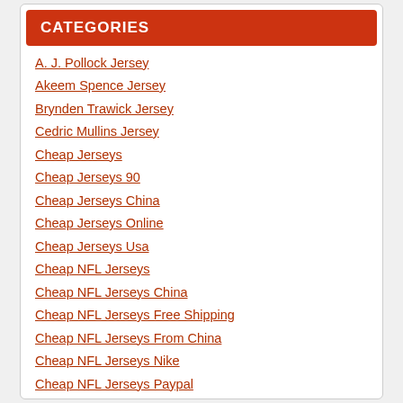CATEGORIES
A. J. Pollock Jersey
Akeem Spence Jersey
Brynden Trawick Jersey
Cedric Mullins Jersey
Cheap Jerseys
Cheap Jerseys 90
Cheap Jerseys China
Cheap Jerseys Online
Cheap Jerseys Usa
Cheap NFL Jerseys
Cheap NFL Jerseys China
Cheap NFL Jerseys Free Shipping
Cheap NFL Jerseys From China
Cheap NFL Jerseys Nike
Cheap NFL Jerseys Paypal
Cheap NFL Jerseys USA
Denzel Perryman Jersey
Fernando Tatis Jr. Jersey
Graham Glasgow Jersey